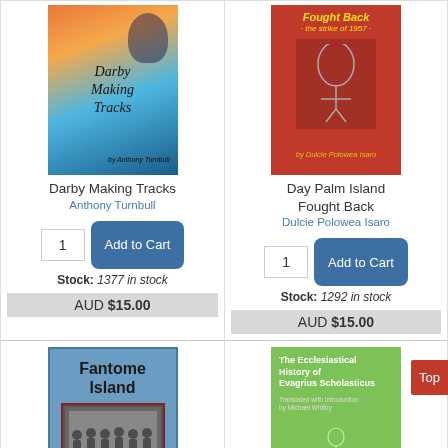[Figure (illustration): Book cover: Darby Making Tracks, illustrated cover with colorful birds and script text]
Darby Making Tracks
Anthony Turnbull
Stock: 1377 in stock
AUD $15.00
[Figure (illustration): Book cover: Day Palm Island Fought Back - the strike of 1957, red cover with illustration]
Day Palm Island Fought Back
Dulcie Polowea Isaro
Stock: 1292 in stock
AUD $15.00
[Figure (illustration): Book cover: Fantome Island, blue cover with black and white group photo, by Kathy Gibson and Jack Ball]
Fantome Island
[Figure (illustration): Book cover: The Ecclesiastical History of Evagrius Scholasticus, green cover with white figure illustration]